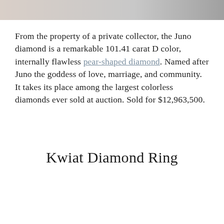[Figure (photo): Partial image of a diamond or jewelry piece visible at the top of the page, cropped strip showing beige and grey tones.]
From the property of a private collector, the Juno diamond is a remarkable 101.41 carat D color, internally flawless pear-shaped diamond. Named after Juno the goddess of love, marriage, and community. It takes its place among the largest colorless diamonds ever sold at auction. Sold for $12,963,500.
Kwiat Diamond Ring